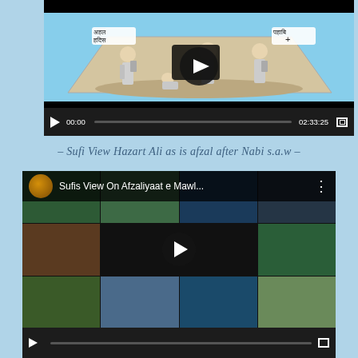[Figure (screenshot): YouTube video player showing an animated cartoon with Arabic/Hindi text labels, video thumbnail with characters in traditional dress, controls showing 00:00 / 02:33:25]
– Sufi View Hazart Ali as is afzal after Nabi s.a.w –
[Figure (screenshot): YouTube video player showing 'Sufis View On Afzaliyaat e Mawl...' with mosaic of mosque images thumbnail, channel icon, play button]